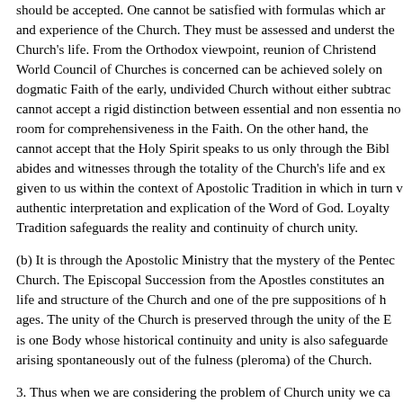should be accepted. One cannot be satisfied with formulas which ar and experience of the Church. They must be assessed and underst the Church's life. From the Orthodox viewpoint, reunion of Christend World Council of Churches is concerned can be achieved solely on dogmatic Faith of the early, undivided Church without either subtrac cannot accept a rigid distinction between essential and non essentia no room for comprehensiveness in the Faith. On the other hand, the cannot accept that the Holy Spirit speaks to us only through the Bibl abides and witnesses through the totality of the Church's life and ex given to us within the context of Apostolic Tradition in which in turn v authentic interpretation and explication of the Word of God. Loyalty Tradition safeguards the reality and continuity of church unity.
(b) It is through the Apostolic Ministry that the mystery of the Pentec Church. The Episcopal Succession from the Apostles constitutes an life and structure of the Church and one of the pre suppositions of h ages. The unity of the Church is preserved through the unity of the E is one Body whose historical continuity and unity is also safeguarde arising spontaneously out of the fulness (pleroma) of the Church.
3. Thus when we are considering the problem of Church unity we ca other way than as the complete restoration of the total faith and the of the Church which is basic to the sacramental life of the Church. W